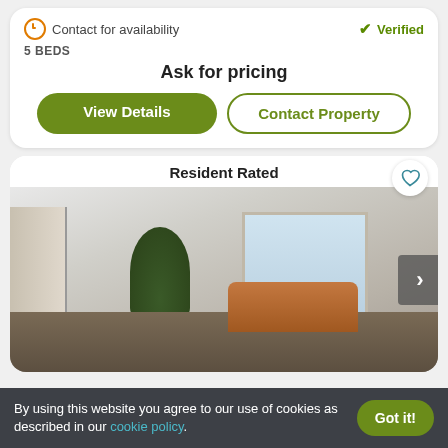Contact for availability
Verified
5 BEDS
Ask for pricing
View Details
Contact Property
Resident Rated
[Figure (photo): Interior photo of a modern apartment living room with hardwood floors, large windows, tropical plants, a wooden dresser, and a brown leather sofa. A navigation arrow is visible on the right side.]
By using this website you agree to our use of cookies as described in our cookie policy.
Got it!